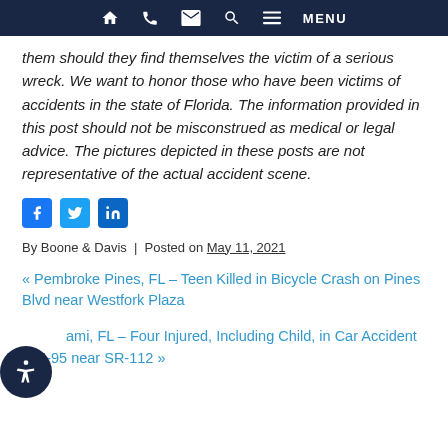Navigation bar with home, phone, email, search, and menu icons
them should they find themselves the victim of a serious wreck. We want to honor those who have been victims of accidents in the state of Florida. The information provided in this post should not be misconstrued as medical or legal advice. The pictures depicted in these posts are not representative of the actual accident scene.
[Figure (other): Social media sharing icons: Facebook, Twitter, LinkedIn]
By Boone & Davis | Posted on May 11, 2021
« Pembroke Pines, FL – Teen Killed in Bicycle Crash on Pines Blvd near Westfork Plaza
Miami, FL – Four Injured, Including Child, in Car Accident on I-95 near SR-112 »